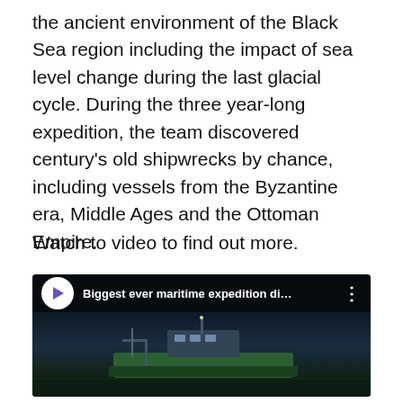the ancient environment of the Black Sea region including the impact of sea level change during the last glacial cycle. During the three year-long expedition, the team discovered century's old shipwrecks by chance, including vessels from the Byzantine era, Middle Ages and the Ottoman Empire.
Watch to video to find out more.
[Figure (screenshot): YouTube video thumbnail showing a ship at night with the title 'Biggest ever maritime expedition di…' and a play button overlay. A purple triangular logo icon appears in the top left.]